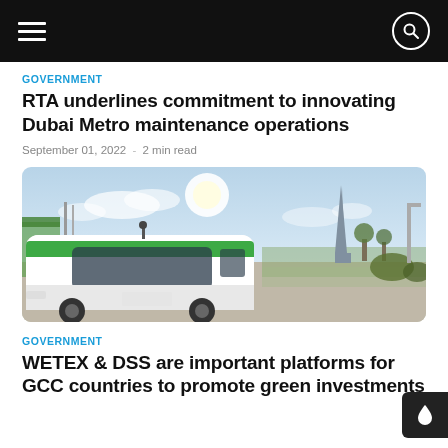Navigation bar with hamburger menu and search icon
GOVERNMENT
RTA underlines commitment to innovating Dubai Metro maintenance operations
September 01, 2022  -  2 min read
[Figure (photo): A white and green autonomous bus parked on a wide road. In the background is a tall spire-like structure (a modern tower), trees, and a clear sky with some clouds.]
GOVERNMENT
WETEX & DSS are important platforms for GCC countries to promote green investments